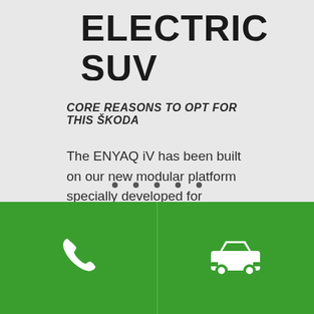ELECTRIC SUV
CORE REASONS TO OPT FOR THIS ŠKODA
The ENYAQ iV has been built on our new modular platform specially developed for electric cars and offers state-of-the-art technology, rapid charging, and a long range.
[Figure (other): Five pagination dots indicating carousel position]
[Figure (other): Green footer bar with two action buttons: phone icon on the left and car/dealership icon on the right]